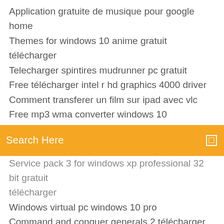Application gratuite de musique pour google home
Themes for windows 10 anime gratuit télécharger
Telecharger spintires mudrunner pc gratuit
Free télécharger intel r hd graphics 4000 driver
Comment transferer un film sur ipad avec vlc
Free mp3 wma converter windows 10
[Figure (screenshot): Orange search bar with text 'Search Here' and a small square search icon on the right]
Service pack 3 for windows xp professional 32 bit gratuit télécharger
Windows virtual pc windows 10 pro
Command and conquer generals 2 télécharger free
Free avi video converter v.5.0.31
Telecharger jeux de guerre gratuit pour pc 2019
Comment recuperer les contact iphone sur android
Convertir un dossier png en pdf
Super smash bros pc emulator
Fond décran pour la saint valentin
La télécommande gratuit ne marche plus